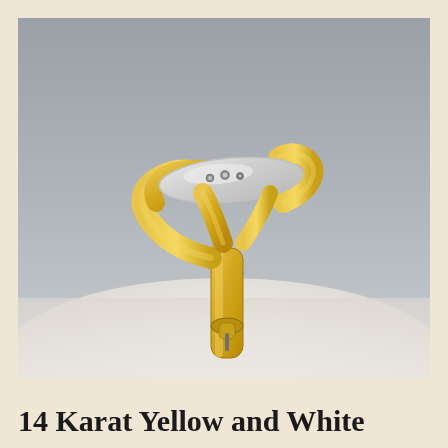[Figure (photo): A 14 karat yellow and white gold ring photographed from the side, displayed on a white surface against a gray gradient background. The ring features a distinctive design with yellow gold forming the band and curves, and a white gold top section adorned with small diamond or gemstone accents.]
14 Karat Yellow and White